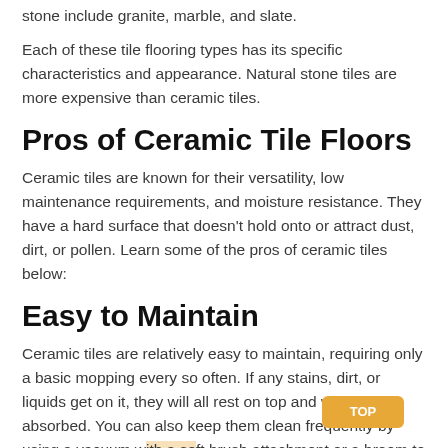stone include granite, marble, and slate.
Each of these tile flooring types has its specific characteristics and appearance. Natural stone tiles are more expensive than ceramic tiles.
Pros of Ceramic Tile Floors
Ceramic tiles are known for their versatility, low maintenance requirements, and moisture resistance. They have a hard surface that doesn't hold onto or attract dust, dirt, or pollen. Learn some of the pros of ceramic tiles below:
Easy to Maintain
Ceramic tiles are relatively easy to maintain, requiring only a basic mopping every so often. If any stains, dirt, or liquids get on it, they will all rest on top and won't get absorbed. You can also keep them clean frequently by using a vacuum with a soft brush attachment or a broom to get any loose debris and dirt off the floor.
If any stains happen, you can use any cleaner, just like how to